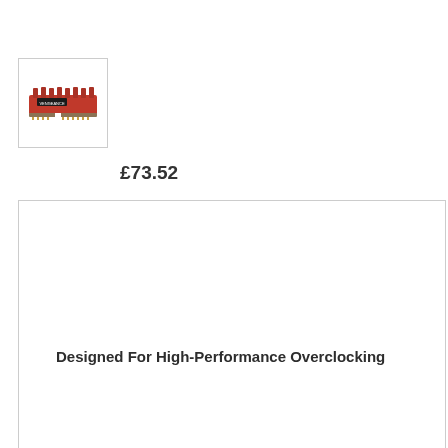[Figure (photo): Small red RAM memory stick in a white bordered thumbnail box]
£73.52
Designed For High-Performance Overclocking